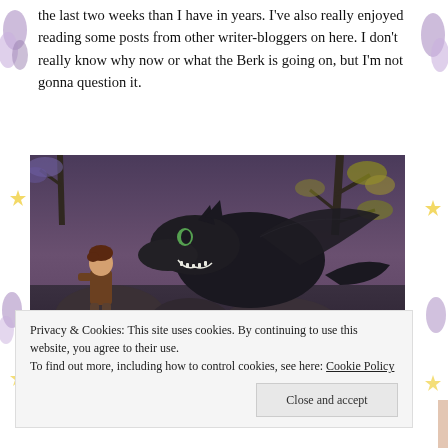the last two weeks than I have in years. I've also really enjoyed reading some posts from other writer-bloggers on here. I don't really know why now or what the Berk is going on, but I'm not gonna question it.
[Figure (illustration): Screenshot from animated film showing a boy sitting on a rock with a large black dragon (Toothless) facing him in a forested twilight setting]
Privacy & Cookies: This site uses cookies. By continuing to use this website, you agree to their use. To find out more, including how to control cookies, see here: Cookie Policy